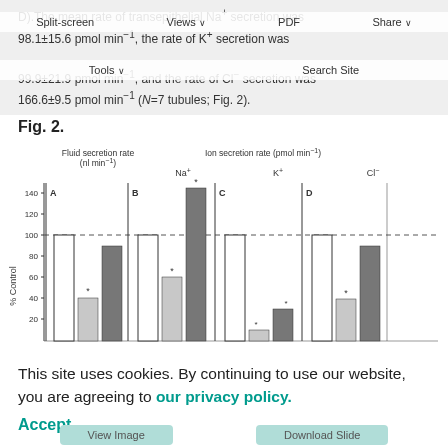D).The mean rate of transepithelial Na⁺ secretion was 98.1±15.6 pmol min⁻¹, the rate of K⁺ secretion was 99.9±21.9 pmol min⁻¹, and the rate of Cl⁻ secretion was 166.6±9.5 pmol min⁻¹ (N=7 tubules; Fig. 2).
Fig. 2.
[Figure (grouped-bar-chart): Fluid secretion rate (nl min⁻¹) and Ion secretion rate (pmol min⁻¹)]
This site uses cookies. By continuing to use our website, you are agreeing to our privacy policy.
Accept